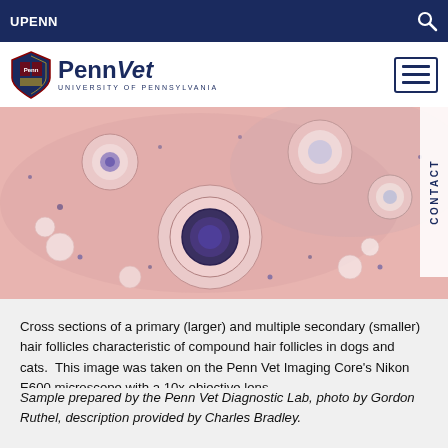UPENN
[Figure (logo): PennVet University of Pennsylvania logo with shield emblem and hamburger menu icon]
[Figure (photo): Microscopy image: Cross sections of a primary (larger) and multiple secondary (smaller) hair follicles, H&E stained histology slide showing tissue in pink and purple tones]
Cross sections of a primary (larger) and multiple secondary (smaller) hair follicles characteristic of compound hair follicles in dogs and cats.  This image was taken on the Penn Vet Imaging Core’s Nikon E600 microscope with a 10x objective lens.
Sample prepared by the Penn Vet Diagnostic Lab, photo by Gordon Ruthel, description provided by Charles Bradley.